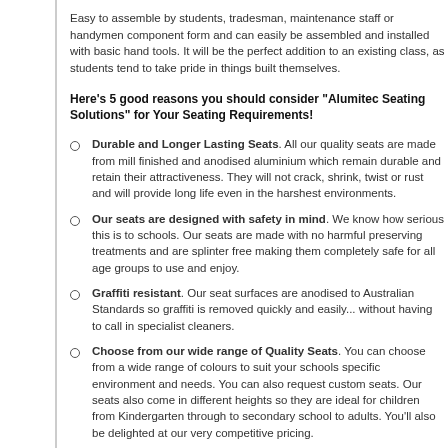Easy to assemble by students, tradesman, maintenance staff or handymen component form and can easily be assembled and installed with basic hand tools. It will be the perfect addition to an existing class, as students tend to take pride in things built themselves.
Here's 5 good reasons you should consider "Alumitec Seating Solutions" for Your Seating Requirements!
Durable and Longer Lasting Seats. All our quality seats are made from mill finished and anodised aluminium which remain durable and retain their attractiveness. They will not crack, shrink, twist or rust and will provide long life even in the harshest environments.
Our seats are designed with safety in mind. We know how serious this is to schools. Our seats are made with no harmful preserving treatments and are splinter free making them completely safe for all age groups to use and enjoy.
Graffiti resistant. Our seat surfaces are anodised to Australian Standards so graffiti is removed quickly and easily... without having to call in specialist cleaners.
Choose from our wide range of Quality Seats. You can choose from a wide range of colours to suit your schools specific environment and needs. You can also request custom seats. Our seats also come in different heights so they are ideal for children from Kindergarten through to secondary school to adults. You'll also be delighted at our very competitive pricing.
Nationwide Distribution Network – Available Australia wide with distributors who can handle orders of any size.